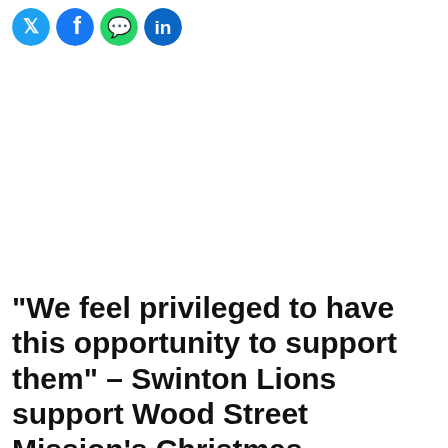[Figure (other): Row of four social media share buttons (Twitter/X, Facebook, WhatsApp, LinkedIn) as circular colored icons]
“We feel privileged to have this opportunity to support them” – Swinton Lions support Wood Street Mission’s Christmas